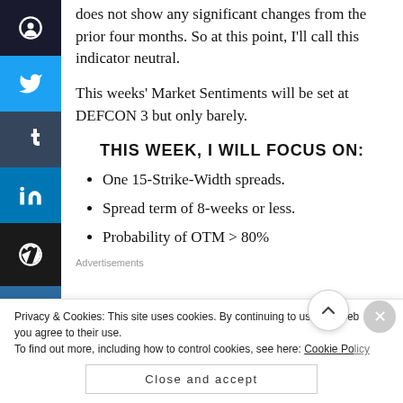does not show any significant changes from the prior four months. So at this point, I'll call this indicator neutral.
This weeks' Market Sentiments will be set at DEFCON 3 but only barely.
THIS WEEK, I WILL FOCUS ON:
One 15-Strike-Width spreads.
Spread term of 8-weeks or less.
Probability of OTM > 80%
Advertisements
Privacy & Cookies: This site uses cookies. By continuing to use this website, you agree to their use. To find out more, including how to control cookies, see here: Cookie Policy
Close and accept